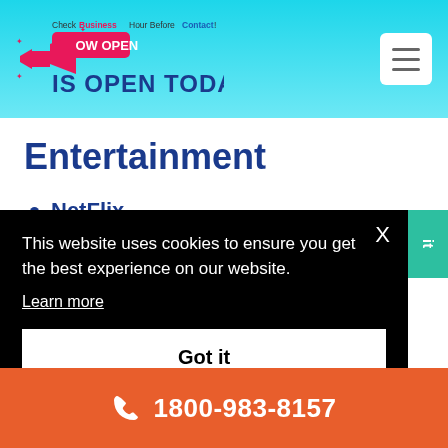Check Business Hour Before Contact ! IS OPEN TODAY ?
Entertainment
NetFlix
This website uses cookies to ensure you get the best experience on our website. Learn more
Got it
1800-983-8157